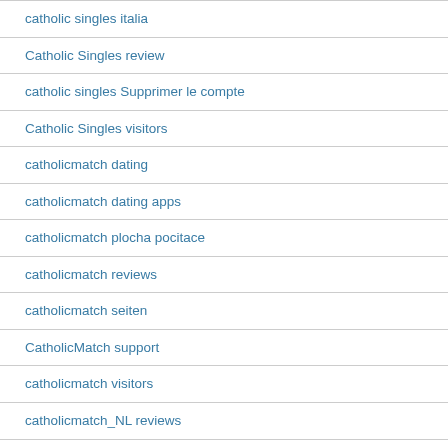catholic singles italia
Catholic Singles review
catholic singles Supprimer le compte
Catholic Singles visitors
catholicmatch dating
catholicmatch dating apps
catholicmatch plocha pocitace
catholicmatch reviews
catholicmatch seiten
CatholicMatch support
catholicmatch visitors
catholicmatch_NL reviews
catholicsingles com vs catholicmatch blog article
catholicsingles com vs catholicmatch click here
catholicsingles cs review